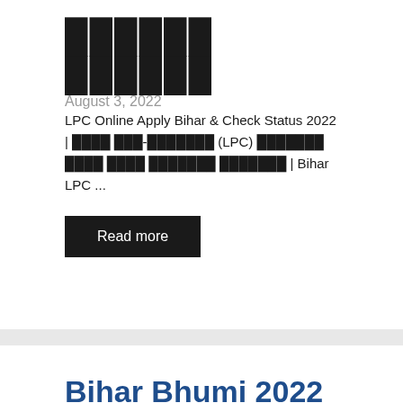██████ ██████
August 3, 2022
LPC Online Apply Bihar & Check Status 2022 | ████ ███-███████ (LPC) ███████ ████ ████ ███████ ███████ | Bihar LPC ...
Read more
Bihar Bhumi 2022 | ████ ████, █████